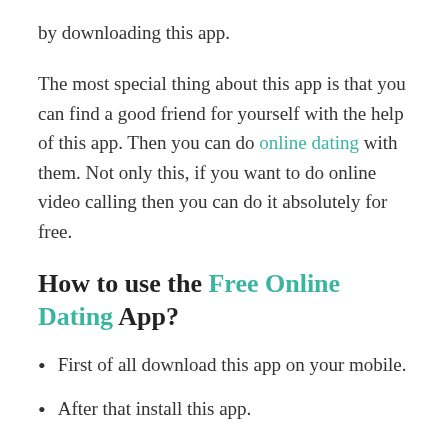by downloading this app.
The most special thing about this app is that you can find a good friend for yourself with the help of this app. Then you can do online dating with them. Not only this, if you want to do online video calling then you can do it absolutely for free.
How to use the Free Online Dating App?
First of all download this app on your mobile.
After that install this app.